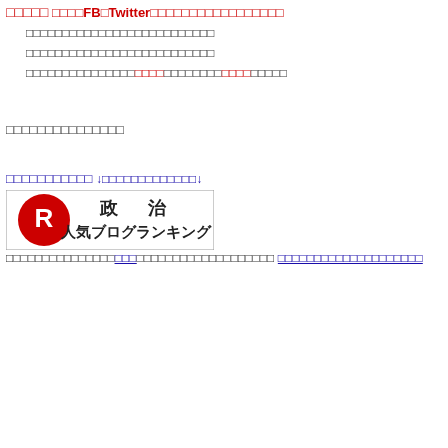□□□□□
□□□□FB□Twitter□□□□□□□□□□□□□□□□□
□□□□□□□□□□□□□□□□□□□□□□□□□□
□□□□□□□□□□□□□□□□□□□□□□□□□□
□□□□□□□□□□□□□□□□□□□□□□□□□□□□□□□□□□□□□
□□□□□□□□□□□□□□□
□□□□□□□□□□□
↓□□□□□□□□□□□□□↓
[Figure (logo): 政治 人気ブログランキング banner with red R logo]
□□□□□□□□□□□□□□□□□□□□□□□□□□□□□□□□□□
□□□□□□□□□□□□□□□□□□□□